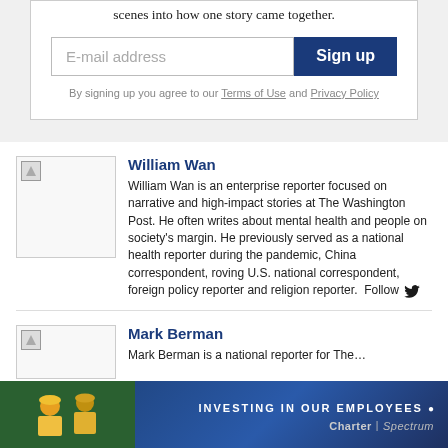scenes into how one story came together.
[Figure (screenshot): Email signup form with E-mail address input field and blue Sign up button]
By signing up you agree to our Terms of Use and Privacy Policy
[Figure (photo): Placeholder image for William Wan author photo]
William Wan
William Wan is an enterprise reporter focused on narrative and high-impact stories at The Washington Post. He often writes about mental health and people on society’s margin. He previously served as a national health reporter during the pandemic, China correspondent, roving U.S. national correspondent, foreign policy reporter and religion reporter. Follow
[Figure (photo): Placeholder image for Mark Berman author photo]
Mark Berman
Mark Berman is a national reporter for The...
[Figure (photo): Charter Spectrum advertisement banner - Investing in Our Employees]